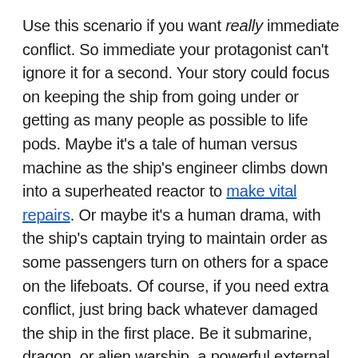Use this scenario if you want really immediate conflict. So immediate your protagonist can't ignore it for a second. Your story could focus on keeping the ship from going under or getting as many people as possible to life pods. Maybe it's a tale of human versus machine as the ship's engineer climbs down into a superheated reactor to make vital repairs. Or maybe it's a human drama, with the ship's captain trying to maintain order as some passengers turn on others for a space on the lifeboats. Of course, if you need extra conflict, just bring back whatever damaged the ship in the first place. Be it submarine, dragon, or alien warship, a powerful external threat will certainly add to the conflict.